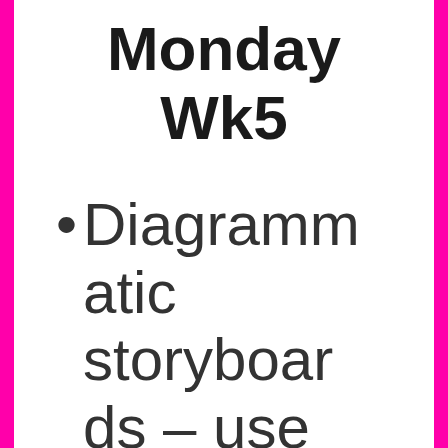Monday Wk5
Diagrammatic storyboards – use